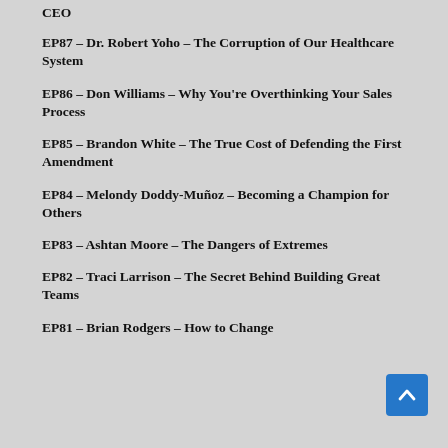CEO
EP87 – Dr. Robert Yoho – The Corruption of Our Healthcare System
EP86 – Don Williams – Why You're Overthinking Your Sales Process
EP85 – Brandon White – The True Cost of Defending the First Amendment
EP84 – Melondy Doddy-Muñoz – Becoming a Champion for Others
EP83 – Ashtan Moore – The Dangers of Extremes
EP82 – Traci Larrison – The Secret Behind Building Great Teams
EP81 – Brian Rodgers – How to Change